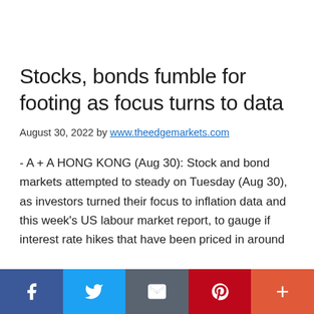Stocks, bonds fumble for footing as focus turns to data
August 30, 2022 by www.theedgemarkets.com
- A + A HONG KONG (Aug 30): Stock and bond markets attempted to steady on Tuesday (Aug 30), as investors turned their focus to inflation data and this week's US labour market report, to gauge if interest rate hikes that have been priced in around